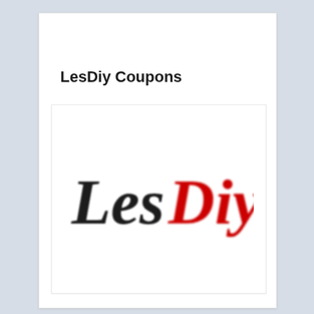LesDiy Coupons
[Figure (logo): LesDiy logo with 'Les' in black serif italic font and 'Diy' in red serif italic font, forming the word LesDiy]